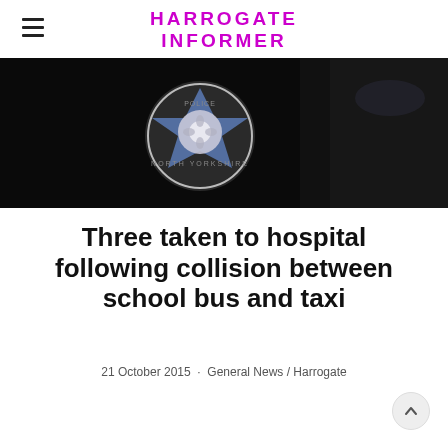HARROGATE INFORMER
[Figure (photo): North Yorkshire Police badge/emblem on a dark background, close-up shot of police car markings]
Three taken to hospital following collision between school bus and taxi
21 October 2015  ·  General News / Harrogate